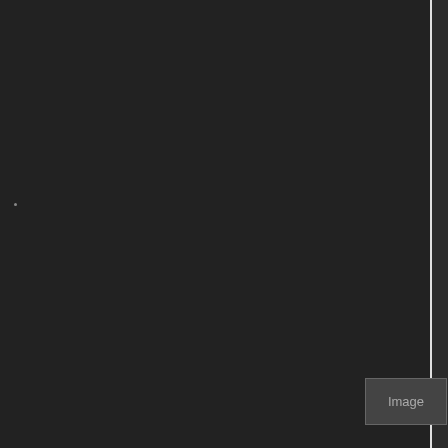sided curvilinear minefields use the smallest axis-aligned (tl;dr: use rectangular zo
minefield.lua:
Code:
-- minefield.lua [interval] [mine_zones]
-- interval - time in millis spawns
-- min/max_mines - inclusive mines to spawn
-- mine_zones - a table (arr are minefields
--
-- interval and min/max mine
[Figure (screenshot): Image placeholder at bottom left]